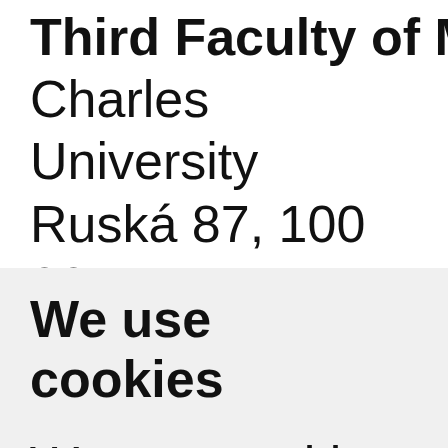Third Faculty of Medicine
Charles University
Ruská 87, 100 00 Prague
Czech Republic
We use cookies
We use cookies and other tracking...